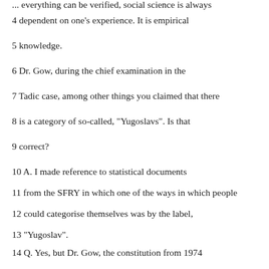... everything can be verified, social science is always
4 dependent on one's experience. It is empirical
5 knowledge.
6 Dr. Gow, during the chief examination in the
7 Tadic case, among other things you claimed that there
8 is a category of so-called, "Yugoslavs". Is that
9 correct?
10 A. I made reference to statistical documents
11 from the SFRY in which one of the ways in which people
12 could categorise themselves was by the label,
13 "Yugoslav".
14 Q. Yes, but Dr. Gow, the constitution from 1974
15 did not provide for them, but they also were undeclared
16 at the census.